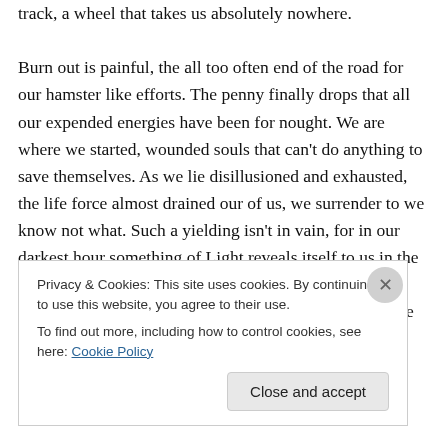track, a wheel that takes us absolutely nowhere. Burn out is painful, the all too often end of the road for our hamster like efforts. The penny finally drops that all our expended energies have been for nought. We are where we started, wounded souls that can't do anything to save themselves. As we lie disillusioned and exhausted, the life force almost drained our of us, we surrender to we know not what. Such a yielding isn't in vain, for in our darkest hour something of Light reveals itself to us in the whispers of the night. “You are my beloved. You always have been and you always will be.” The treasure that we have been
Privacy & Cookies: This site uses cookies. By continuing to use this website, you agree to their use. To find out more, including how to control cookies, see here: Cookie Policy